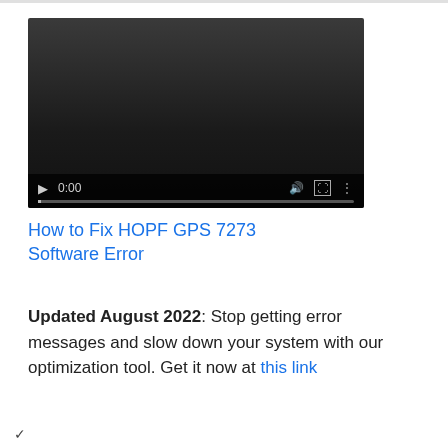[Figure (screenshot): Embedded video player with dark background showing controls: play button, time display 0:00, volume icon, fullscreen icon, more options icon, and a progress bar at the bottom.]
How to Fix HOPF GPS 7273 Software Error
Updated August 2022: Stop getting error messages and slow down your system with our optimization tool. Get it now at this link